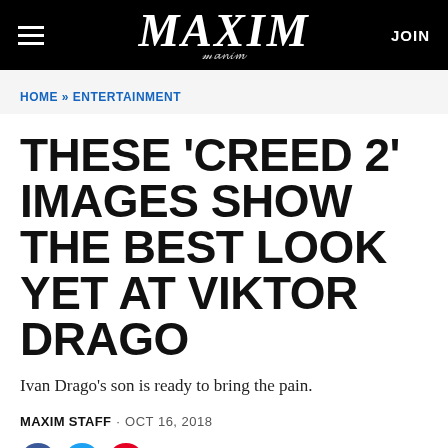MAXIM · JOIN
HOME » ENTERTAINMENT
THESE 'CREED 2' IMAGES SHOW THE BEST LOOK YET AT VIKTOR DRAGO
Ivan Drago's son is ready to bring the pain.
MAXIM STAFF · OCT 16, 2018
[Figure (other): Social share icons: Facebook, Twitter, Pinterest]